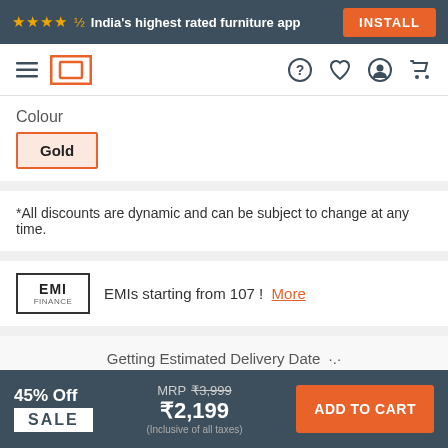★★★★½ India's highest rated furniture app  INSTALL
[Figure (screenshot): Navigation bar with hamburger menu, Pepperfry logo (orange square outline), help, wishlist, account, and cart icons]
Colour
Gold
*All discounts are dynamic and can be subject to change at any time.
EMIs starting from 107 !  More
Getting Estimated Delivery Date ·.·
PROPERTIES
45% Off  SALE  MRP ₹3,999  ₹2,199  (Inclusive of all taxes)  ADD TO CART